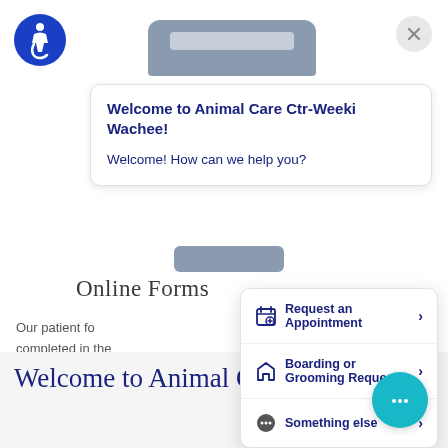[Figure (screenshot): Screenshot of a veterinary clinic website with a chat widget overlay. The chat widget shows a welcome message 'Welcome to Animal Care Ctr-Weeki Wachee!' and 'Welcome! How can we help you?' with three menu options: 'Request an Appointment', 'Boarding or Grooming Request', and 'Something else'. The website background shows 'Online Forms' heading, partial text about patient forms, and a 'View Fo...' button. There is an accessibility icon (blue circle with wheelchair symbol) in the top left, a close X button in the top right, and a teal chat bubble icon in the bottom right. The bottom of the page shows the beginning of 'Welcome to Animal Care Center of' text.]